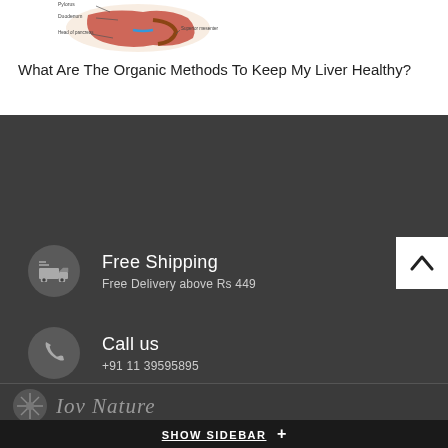[Figure (illustration): Anatomical illustration of human digestive organs including liver/pancreas area with labeled parts: Pylorus, Duodenum, Head of pancreas, and superior mesenteric artery and vein]
What Are The Organic Methods To Keep My Liver Healthy?
Free Shipping
Free Delivery above Rs 449
Call us
+91 11 39595895
100% Secure Payments
All major credit & debit cards accepted
[Figure (logo): Joy Nature logo with leaf/plant circular emblem and italic script text]
SHOW SIDEBAR +